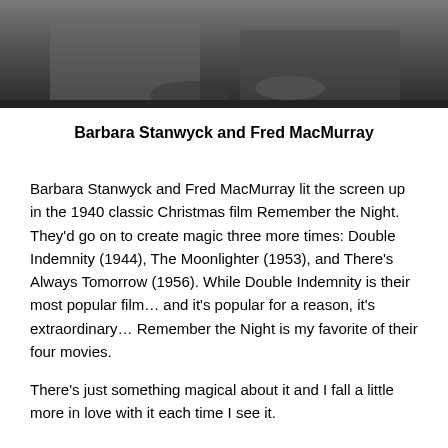[Figure (photo): Black and white photograph of Barbara Stanwyck and Fred MacMurray]
Barbara Stanwyck and Fred MacMurray
Barbara Stanwyck and Fred MacMurray lit the screen up in the 1940 classic Christmas film Remember the Night. They’d go on to create magic three more times: Double Indemnity (1944), The Moonlighter (1953), and There’s Always Tomorrow (1956). While Double Indemnity is their most popular film… and it’s popular for a reason, it’s extraordinary… Remember the Night is my favorite of their four movies.
There’s just something magical about it and I fall a little more in love with it each time I see it.